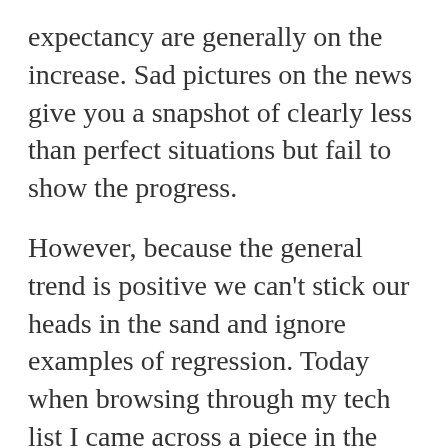expectancy are generally on the increase. Sad pictures on the news give you a snapshot of clearly less than perfect situations but fail to show the progress.

However, because the general trend is positive we can't stick our heads in the sand and ignore examples of regression. Today when browsing through my tech list I came across a piece in the NewYork Times about rostering software and its effect on low-income workers. The theory behind roster optimising software has been around for ages. It relies on permutations, an area of math that figures out different ways of achieving an outcome with parameters. The branch of math is called group theory, which is also used in cryptography, particle physics, DNA, logic and much more. Computers have